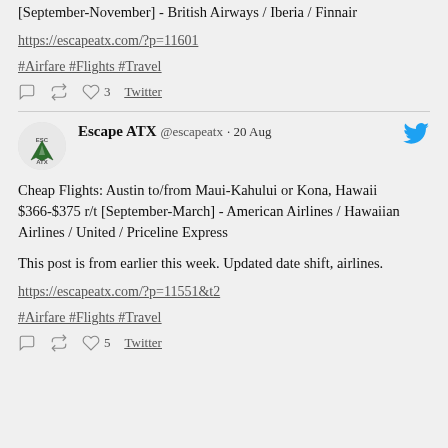[September-November] - British Airways / Iberia / Finnair

https://escapeatx.com/?p=11601

#Airfare #Flights #Travel

[reply] [retweet] ♥ 3  Twitter
Escape ATX @escapeatx · 20 Aug

Cheap Flights: Austin to/from Maui-Kahului or Kona, Hawaii $366-$375 r/t [September-March] - American Airlines / Hawaiian Airlines / United / Priceline Express

This post is from earlier this week. Updated date shift, airlines.

https://escapeatx.com/?p=11551&t2

#Airfare #Flights #Travel

[reply] [retweet] ♥ 5  Twitter